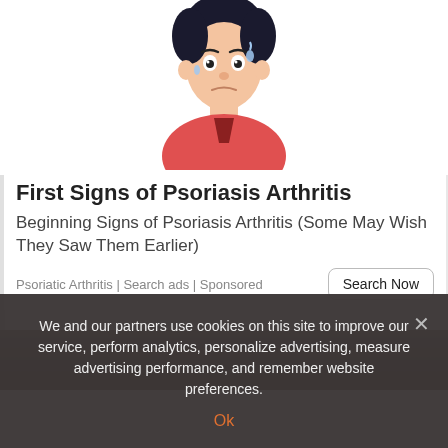[Figure (illustration): Cartoon illustration of a distressed person with sweat drops, wearing a red shirt, shown from upper body. The figure has a sad/pained expression.]
First Signs of Psoriasis Arthritis
Beginning Signs of Psoriasis Arthritis (Some May Wish They Saw Them Earlier)
Psoriatic Arthritis | Search ads | Sponsored
[Figure (photo): Partial dark photo strip at the bottom, appears to show a dark outdoor scene.]
We and our partners use cookies on this site to improve our service, perform analytics, personalize advertising, measure advertising performance, and remember website preferences.